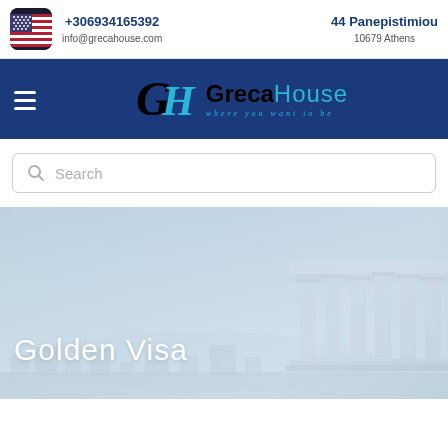+306934165392  info@grecahouse.com  44 Panepistimiou  10679 Athens
[Figure (logo): Greca House logo with tagline 'where you want to be' on dark blue navigation bar]
Search
Golden Visa
[Figure (photo): Hero image of Athens with ancient Greek columns (Erechtheion caryatids) in a light blue-grey washed tint]